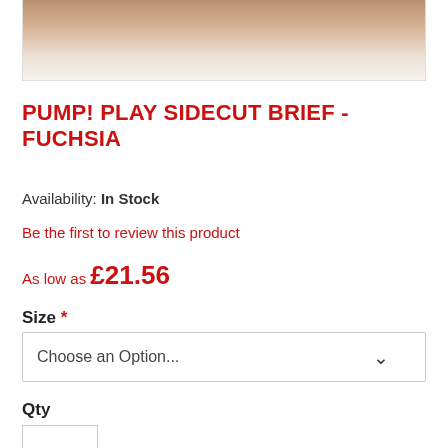[Figure (photo): Product image of PUMP! Play Sidecut Brief in Fuchsia, showing the lower torso of a model wearing the brief, cropped at the top of the frame]
PUMP! PLAY SIDECUT BRIEF - FUCHSIA
Availability: In Stock
Be the first to review this product
As low as £21.56
Size *
Choose an Option...
Qty
1